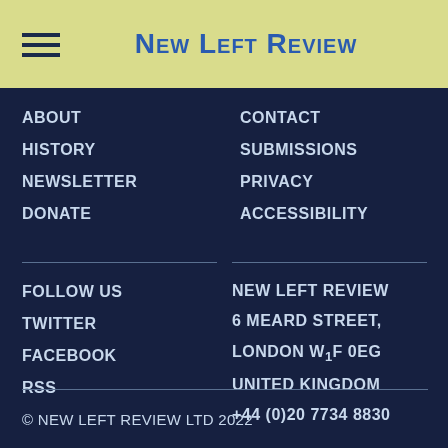New Left Review
ABOUT
HISTORY
NEWSLETTER
DONATE
CONTACT
SUBMISSIONS
PRIVACY
ACCESSIBILITY
FOLLOW US
TWITTER
FACEBOOK
RSS
NEW LEFT REVIEW
6 MEARD STREET,
LONDON W1F 0EG
UNITED KINGDOM
+44 (0)20 7734 8830
© NEW LEFT REVIEW LTD 2022